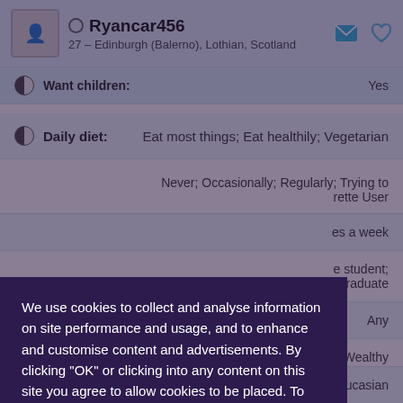Ryancar456 — 27 – Edinburgh (Balerno), Lothian, Scotland
Want children: Yes
Daily diet: Eat most things; Eat healthily; Vegetarian
Never; Occasionally; Regularly; Trying to ... rette User
...es a week
...e student; ...stgraduate
Any
...e; Wealthy
Ethnicity: White/Caucasian
We use cookies to collect and analyse information on site performance and usage, and to enhance and customise content and advertisements. By clicking "OK" or clicking into any content on this site you agree to allow cookies to be placed. To find out more or to change your cookie settings, visit the cookies section of our Privacy Policy.
OK